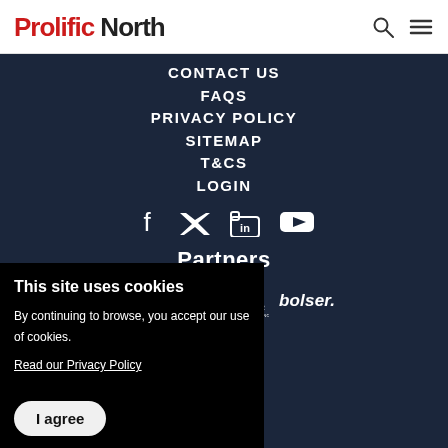Prolific North
CONTACT US
FAQS
PRIVACY POLICY
SITEMAP
T&CS
LOGIN
[Figure (other): Social media icons: Facebook, Twitter, LinkedIn, YouTube]
Partners
[Figure (logo): Partner logos: partial logo (people), Metricomm, No Brainer Creative Intelligence, bolser]
This site uses cookies
By continuing to browse, you accept our use of cookies.
Read our Privacy Policy
I agree